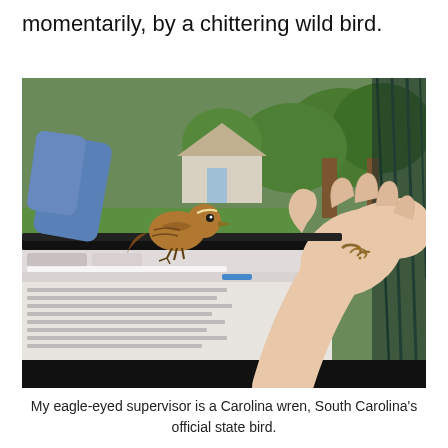momentarily, by a chittering wild bird.
[Figure (photo): A Carolina wren bird perched on a laptop screen outdoors, with a human hand extended open holding small insects/worms in the palm. The background shows green trees and a house. A hammock is visible on the right side.]
My eagle-eyed supervisor is a Carolina wren, South Carolina's official state bird.